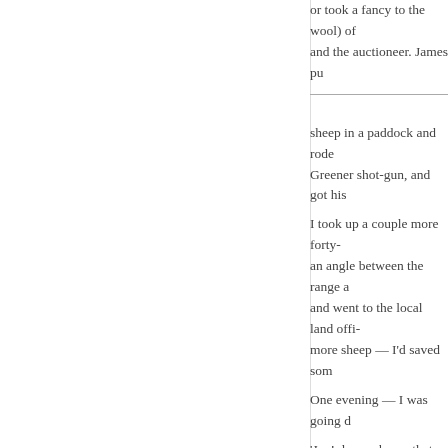or took a fancy to the wool) of and the auctioneer. James pu
sheep in a paddock and rode Greener shot-gun, and got his
I took up a couple more forty- an angle between the range a and went to the local land offi- more sheep — I'd saved som
One evening — I was going d
'Joe! do you know that the Ma
The Matthews were a big fam- though the old woman and gi
'Well, what of that?' I said. 'Th flashing round in a double bug
'But that isn't what I was going seven pounds; and you could
'I wish James to the devil!' I sa